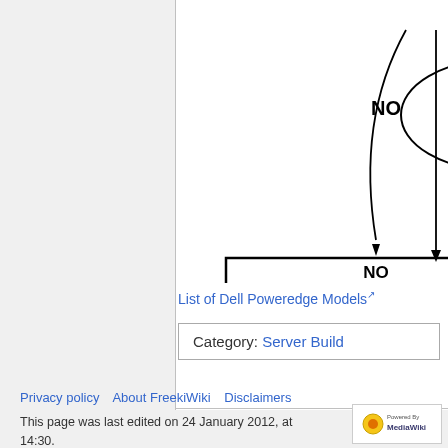[Figure (flowchart): Partial flowchart showing decision nodes with 'NO' labels and arrows pointing to a box labeled 'NO (we do not want it for a serv...' (server). An ellipse contains text 'Is the... or fas...' (truncated). Multiple arrows converge into the bottom rectangle.]
List of Dell Poweredge Models
| Category:  Server Build |
| --- |
This page was last edited on 24 January 2012, at 14:30.
Privacy policy   About FreekiWiki   Disclaimers